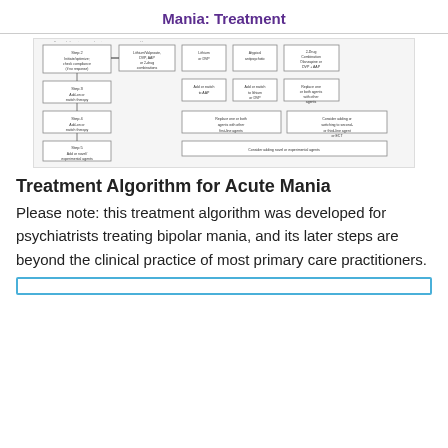Mania: Treatment
[Figure (flowchart): Treatment algorithm flowchart for acute mania showing multiple steps and decision branches including lithium/DVP/AAP combinations, atypical antipsychotics, and ECT options.]
Treatment Algorithm for Acute Mania
Please note: this treatment algorithm was developed for psychiatrists treating bipolar mania, and its later steps are beyond the clinical practice of most primary care practitioners.